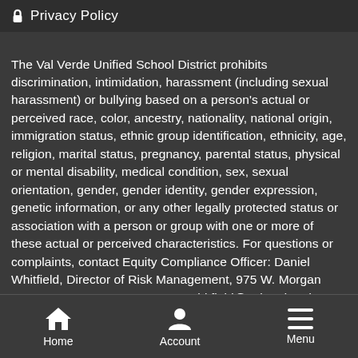Privacy Policy
The Val Verde Unified School District prohibits discrimination, intimidation, harassment (including sexual harassment) or bullying based on a person's actual or perceived race, color, ancestry, nationality, national origin, immigration status, ethnic group identification, ethnicity, age, religion, marital status, pregnancy, parental status, physical or mental disability, medical condition, sex, sexual orientation, gender, gender identity, gender expression, genetic information, or any other legally protected status or association with a person or group with one or more of these actual or perceived characteristics. For questions or complaints, contact Equity Compliance Officer: Daniel Whitfield, Director of Risk Management, 975 W. Morgan Street, 951-940-6100 x10672, awhitfield@valverde.edu ; Title IX Coordinator: Daniel Whitfield, Director of Risk Management, 975 W. Morgan Street, 951-940-6100 x10672, awhitfield@valverde.edu ; and Section 504 Coordinator: Steve Coelho, Director of Child Welfare
Home  Account  Menu